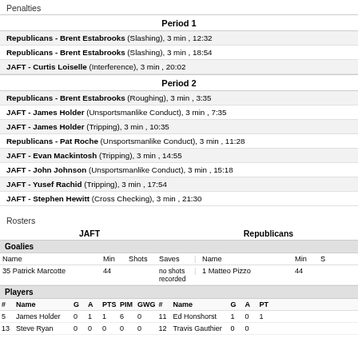Penalties
Period 1
Republicans - Brent Estabrooks (Slashing), 3 min , 12:32
Republicans - Brent Estabrooks (Slashing), 3 min , 18:54
JAFT - Curtis Loiselle (Interference), 3 min , 20:02
Period 2
Republicans - Brent Estabrooks (Roughing), 3 min , 3:35
JAFT - James Holder (Unsportsmanlike Conduct), 3 min , 7:35
JAFT - James Holder (Tripping), 3 min , 10:35
Republicans - Pat Roche (Unsportsmanlike Conduct), 3 min , 11:28
JAFT - Evan Mackintosh (Tripping), 3 min , 14:55
JAFT - John Johnson (Unsportsmanlike Conduct), 3 min , 15:18
JAFT - Yusef Rachid (Tripping), 3 min , 17:54
JAFT - Stephen Hewitt (Cross Checking), 3 min , 21:30
Rosters
| JAFT | Republicans |
| --- | --- |
| Goalies |  |
| Name | Min | Shots | Saves | Name | Min | Shots |
| 35 Patrick Marcotte | 44 | no shots recorded |  | 1 Matteo Pizzo | 44 |  |
| Players |  |
| # | Name | G | A | PTS | PIM | GWG | # | Name | G | A | PTS |
| 5 | James Holder | 0 | 1 | 1 | 6 | 0 | 11 | Ed Honshorst | 1 | 0 | 1 |
| 13 | Steve Ryan | 0 | 0 | 0 | 0 | 0 | 12 | Travis Gauthier | 0 | 0 |  |